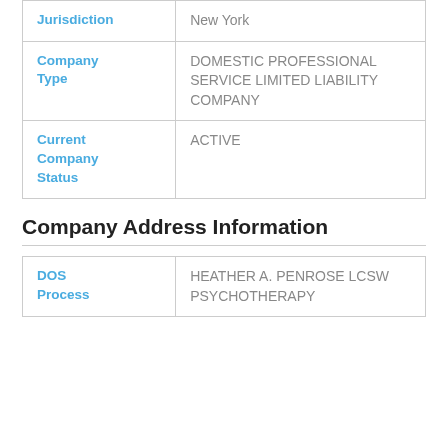| Field | Value |
| --- | --- |
| Jurisdiction | New York |
| Company Type | DOMESTIC PROFESSIONAL SERVICE LIMITED LIABILITY COMPANY |
| Current Company Status | ACTIVE |
Company Address Information
| Field | Value |
| --- | --- |
| DOS Process | HEATHER A. PENROSE LCSW PSYCHOTHERAPY PLLC |